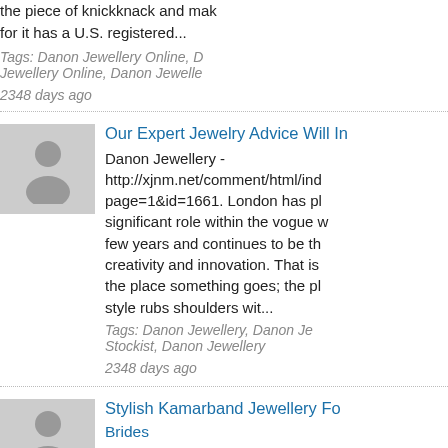the piece of knickknack and mak for it has a U.S. registered...
Tags: Danon Jewellery Online, D Jewellery Online, Danon Jewelle
2348 days ago
[Figure (photo): Default avatar silhouette placeholder image]
Our Expert Jewelry Advice Will In
Danon Jewellery - http://xjnm.net/comment/html/ind page=1&id=1661. London has pl significant role within the vogue w few years and continues to be th creativity and innovation. That is the place something goes; the pl style rubs shoulders wit...
Tags: Danon Jewellery, Danon Je Stockist, Danon Jewellery
2348 days ago
[Figure (photo): Default avatar silhouette placeholder image]
Stylish Kamarband Jewellery Fo Brides